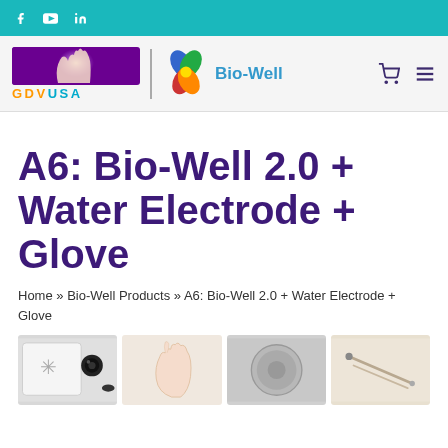f  (YouTube)  in
[Figure (logo): GDVUSA and Bio-Well combined logo header with navigation icons (cart and menu)]
A6: Bio-Well 2.0 + Water Electrode + Glove
Home » Bio-Well Products » A6: Bio-Well 2.0 + Water Electrode + Glove
[Figure (photo): Four product images shown side by side: Bio-Well 2.0 device (white box with camera), a hand with glove, a circular water electrode disc, and an accessory/cable]